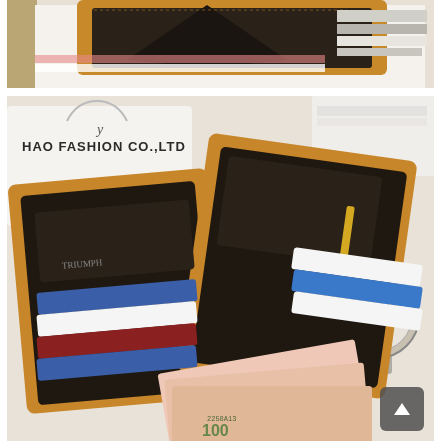[Figure (photo): Top portion of a brown leather bifold wallet open, showing the interior with dark lining, placed on a white surface with books and papers in the background.]
[Figure (photo): Open brown leather bifold wallet with black interior lining, showing multiple credit cards (blue, white, red) in card slots on both sides, with currency notes (including a 100 bill) fanned out, a wristwatch visible in the background, and a shopping bag labeled 'HAO FASHION CO.,LTD' to the upper left. A scroll-to-top button is visible in the lower right corner.]